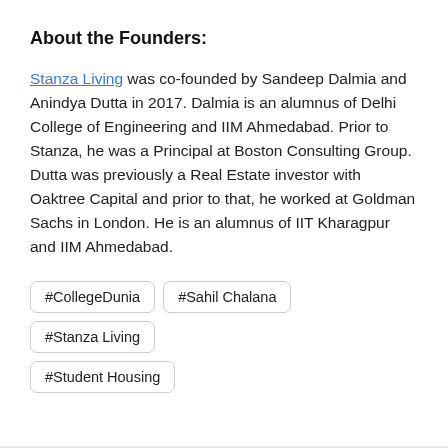About the Founders:
Stanza Living was co-founded by Sandeep Dalmia and Anindya Dutta in 2017. Dalmia is an alumnus of Delhi College of Engineering and IIM Ahmedabad. Prior to Stanza, he was a Principal at Boston Consulting Group. Dutta was previously a Real Estate investor with Oaktree Capital and prior to that, he worked at Goldman Sachs in London. He is an alumnus of IIT Kharagpur and IIM Ahmedabad.
#CollegeDunia
#Sahil Chalana
#Stanza Living
#Student Housing